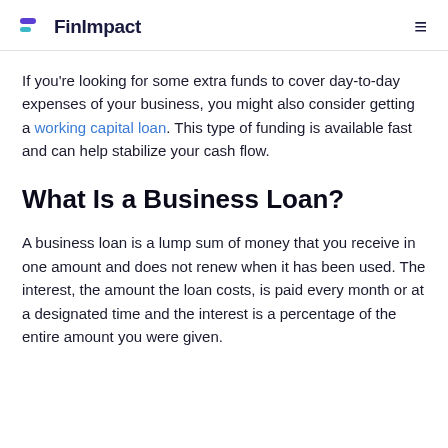FinImpact
If you're looking for some extra funds to cover day-to-day expenses of your business, you might also consider getting a working capital loan. This type of funding is available fast and can help stabilize your cash flow.
What Is a Business Loan?
A business loan is a lump sum of money that you receive in one amount and does not renew when it has been used. The interest, the amount the loan costs, is paid every month or at a designated time and the interest is a percentage of the entire amount you were given.